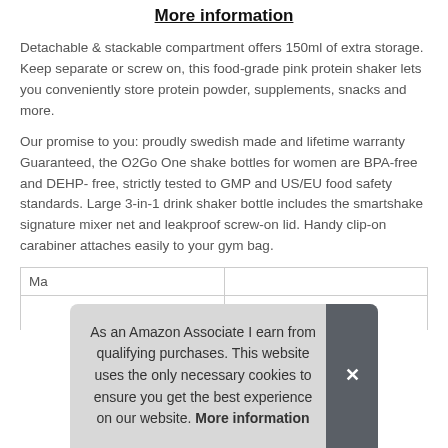More information
Detachable & stackable compartment offers 150ml of extra storage. Keep separate or screw on, this food-grade pink protein shaker lets you conveniently store protein powder, supplements, snacks and more.
Our promise to you: proudly swedish made and lifetime warranty Guaranteed, the O2Go One shake bottles for women are BPA-free and DEHP- free, strictly tested to GMP and US/EU food safety standards. Large 3-in-1 drink shaker bottle includes the smartshake signature mixer net and leakproof screw-on lid. Handy clip-on carabiner attaches easily to your gym bag.
| Ma |
As an Amazon Associate I earn from qualifying purchases. This website uses the only necessary cookies to ensure you get the best experience on our website. More information